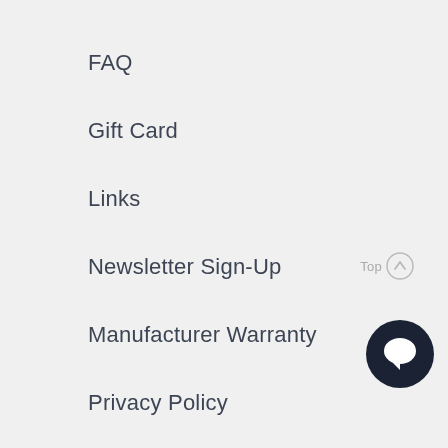FAQ
Gift Card
Links
Newsletter Sign-Up
Manufacturer Warranty
Privacy Policy
Return Policy
Search our Site
[Figure (other): Top navigation button with upward arrow icon and chat bubble icon in bottom-right corner]